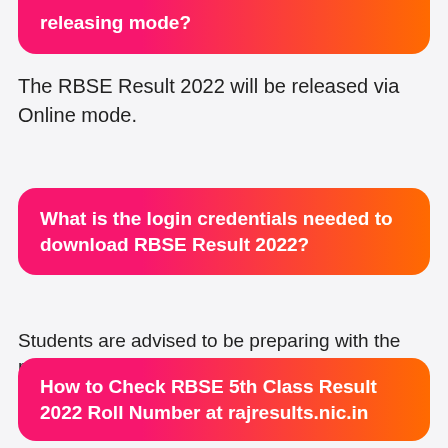releasing mode?
The RBSE Result 2022 will be released via Online mode.
What is the login credentials needed to download RBSE Result 2022?
Students are advised to be preparing with the registration number and password for downloading RBSE Result 2022.RBSE Ajmer Result 2022
How to Check RBSE 5th Class Result 2022 Roll Number at rajresults.nic.in